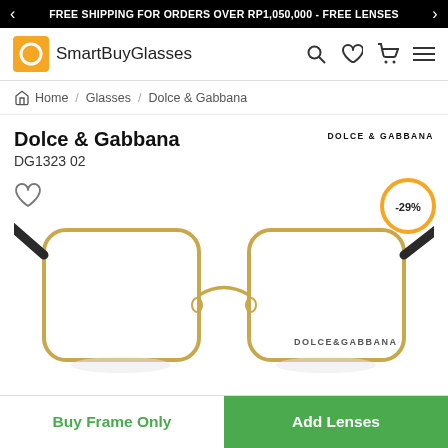FREE SHIPPING FOR ORDERS OVER RP1,050,000 - FREE LENSES
[Figure (logo): SmartBuyGlasses logo with orange square icon]
Home / Glasses / Dolce & Gabbana
Dolce & Gabbana DG1323 02
[Figure (photo): Dolce & Gabbana DG1323 02 gold square metal eyeglasses frames with dark temples, showing DOLCE&GABBANA branding on the frame. Discount badge showing -29%.]